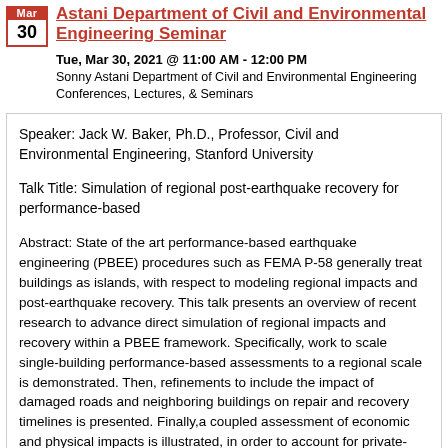Astani Department of Civil and Environmental Engineering Seminar
Tue, Mar 30, 2021 @ 11:00 AM - 12:00 PM
Sonny Astani Department of Civil and Environmental Engineering Conferences, Lectures, & Seminars
Speaker: Jack W. Baker, Ph.D., Professor, Civil and Environmental Engineering, Stanford University
Talk Title: Simulation of regional post-earthquake recovery for performance-based
Abstract: State of the art performance-based earthquake engineering (PBEE) procedures such as FEMA P-58 generally treat buildings as islands, with respect to modeling regional impacts and post-earthquake recovery. This talk presents an overview of recent research to advance direct simulation of regional impacts and recovery within a PBEE framework. Specifically, work to scale single-building performance-based assessments to a regional scale is demonstrated. Then, refinements to include the impact of damaged roads and neighboring buildings on repair and recovery timelines is presented. Finally,a coupled assessment of economic and physical impacts is illustrated, in order to account for private-sector decision-making and regional industrial capacity constraints on recovery. Collectively, these developments move us closer to regional-